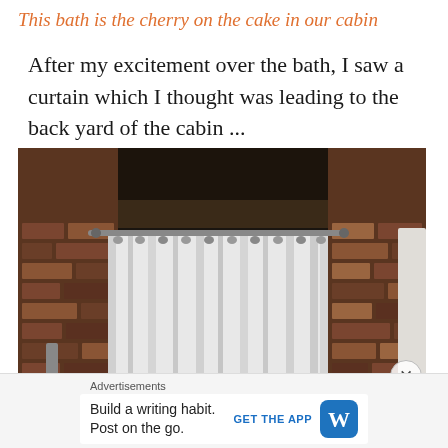This bath is the cherry on the cake in our cabin
After my excitement over the bath, I saw a curtain which I thought was leading to the back yard of the cabin ...
[Figure (photo): A white curtain hanging on a metal curtain rod against a brick wall with dark wooden ceiling beams above, inside what appears to be a rustic cabin interior.]
Advertisements
Build a writing habit. Post on the go.
GET THE APP